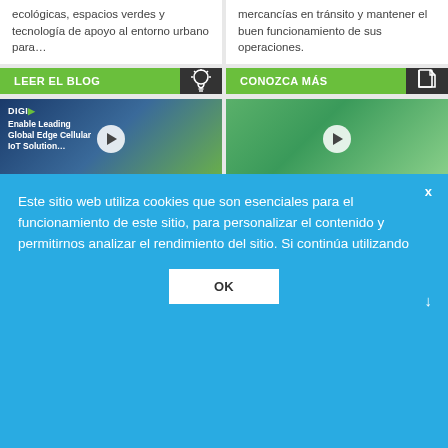ecológicas, espacios verdes y tecnología de apoyo al entorno urbano para…
mercancías en tránsito y mantener el buen funcionamiento de sus operaciones.
LEER EL BLOG
CONOZCA MÁS
[Figure (screenshot): Video thumbnail for 'Enable Leading Global Edge Cellular IoT Solutions' with DIGI logo and play button]
[Figure (screenshot): Video thumbnail showing smart agriculture/IoT aerial map with play button]
Este sitio web utiliza cookies que son esenciales para el funcionamiento de este sitio, para personalizar el contenido y permitirnos analizar el rendimiento del sitio. Si continúa utilizando
OK